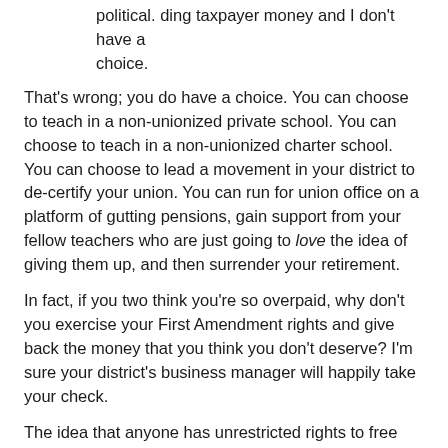political. ding taxpayer money and I don't have a choice.
That's wrong; you do have a choice. You can choose to teach in a non-unionized private school. You can choose to teach in a non-unionized charter school. You can choose to lead a movement in your district to de-certify your union. You can run for union office on a platform of gutting pensions, gain support from your fellow teachers who are just going to love the idea of giving them up, and then surrender your retirement.
In fact, if you two think you're so overpaid, why don't you exercise your First Amendment rights and give back the money that you think you don't deserve? I'm sure your district's business manager will happily take your check.
The idea that anyone has unrestricted rights to free speech is, of course, silly -- but it's particularly true for teachers. You can't publicly discuss a child's IEP. You can't indoctrinate students with your personal views -- an act of speech, in my view, that is far more political and, consequently, far more